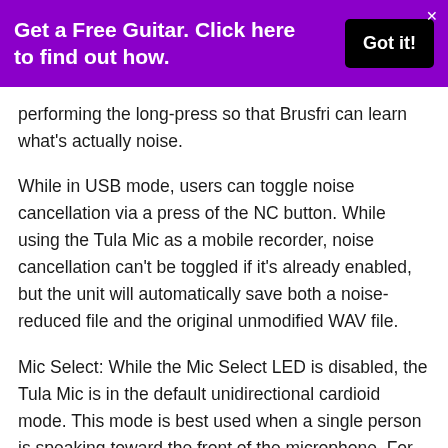[Figure (screenshot): Purple promotional banner with text 'Get a Free Guitar. Click here to find out how.' and a black 'Got it!' button, with an X close button in the top right.]
performing the long-press so that Brusfri can learn what's actually noise.
While in USB mode, users can toggle noise cancellation via a press of the NC button. While using the Tula Mic as a mobile recorder, noise cancellation can't be toggled if it's already enabled, but the unit will automatically save both a noise-reduced file and the original unmodified WAV file.
Mic Select: While the Mic Select LED is disabled, the Tula Mic is in the default unidirectional cardioid mode. This mode is best used when a single person is speaking toward the front of the microphone. For recording an entire room or 360-degree audio, press the Mic Select button to switch to the omnidirectional polar pattern. In addition, a long press of the